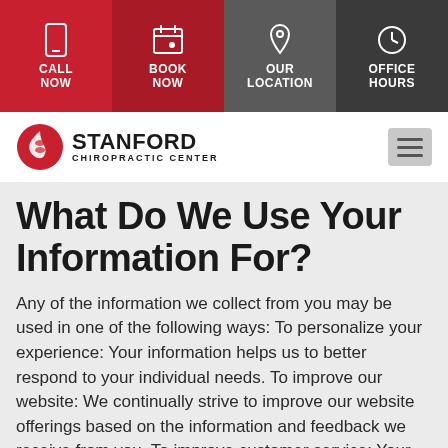CALL NOW | BOOK NOW | OUR LOCATION | OFFICE HOURS
[Figure (logo): Stanford Chiropractic Center logo with red spine icon and bold text]
What Do We Use Your Information For?
Any of the information we collect from you may be used in one of the following ways: To personalize your experience: Your information helps us to better respond to your individual needs. To improve our website: We continually strive to improve our website offerings based on the information and feedback we receive from you. To improve customer service: Your